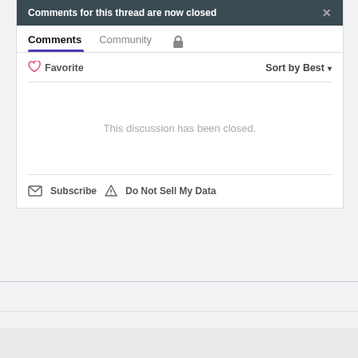Comments for this thread are now closed
Comments  Community  🔒
♡ Favorite    Sort by Best ▾
This discussion has been closed.
✉ Subscribe  ⚠ Do Not Sell My Data